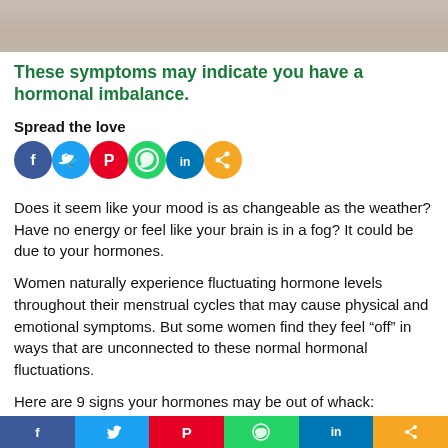[Figure (photo): Cropped photo of a person's torso/upper body with skin-toned background, partial view only]
These symptoms may indicate you have a hormonal imbalance.
Spread the love
[Figure (infographic): Row of social media share icons: Facebook (blue), Twitter (blue), Pinterest (red), WhatsApp (green), LinkedIn (blue), Share (orange)]
Does it seem like your mood is as changeable as the weather? Have no energy or feel like your brain is in a fog? It could be due to your hormones.
Women naturally experience fluctuating hormone levels throughout their menstrual cycles that may cause physical and emotional symptoms. But some women find they feel “off” in ways that are unconnected to these normal hormonal fluctuations.
Here are 9 signs your hormones may be out of whack:
[Figure (infographic): Bottom social share bar with Facebook, Twitter, Pinterest, WhatsApp, LinkedIn, Share buttons]